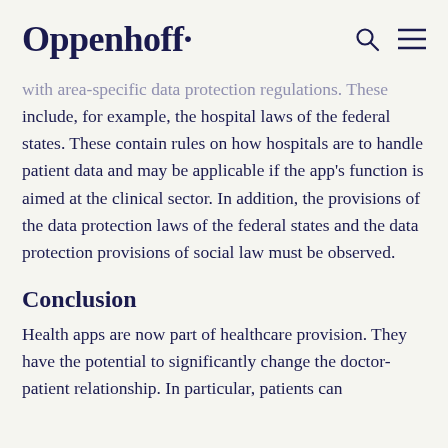Oppenhoff
with area-specific data protection regulations. These include, for example, the hospital laws of the federal states. These contain rules on how hospitals are to handle patient data and may be applicable if the app's function is aimed at the clinical sector. In addition, the provisions of the data protection laws of the federal states and the data protection provisions of social law must be observed.
Conclusion
Health apps are now part of healthcare provision. They have the potential to significantly change the doctor-patient relationship. In particular, patients can